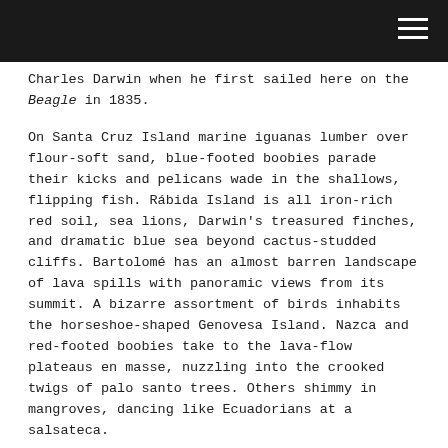Charles Darwin when he first sailed here on the Beagle in 1835.
On Santa Cruz Island marine iguanas lumber over flour-soft sand, blue-footed boobies parade their kicks and pelicans wade in the shallows, flipping fish. Rábida Island is all iron-rich red soil, sea lions, Darwin's treasured finches, and dramatic blue sea beyond cactus-studded cliffs. Bartolomé has an almost barren landscape of lava spills with panoramic views from its summit. A bizarre assortment of birds inhabits the horseshoe-shaped Genovesa Island. Nazca and red-footed boobies take to the lava-flow plateaus en masse, nuzzling into the crooked twigs of palo santo trees. Others shimmy in mangroves, dancing like Ecuadorians at a salsateca.
Sea lions on Genovesa island.
It's on Santiago Island that we see the first signs that something's not quite right. Dead iguanas litter the beach